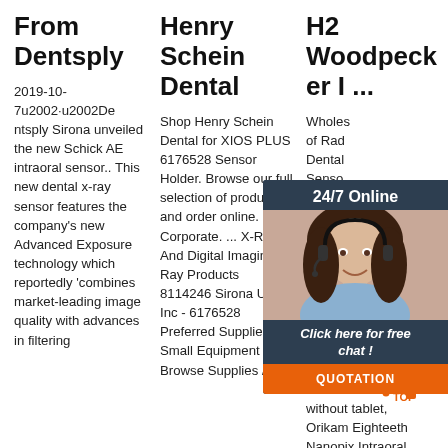From Dentsply
2019-10-7u2002·u2002Dentsply Sirona unveiled the new Schick AE intraoral sensor.. This new dental x-ray sensor features the company's new Advanced Exposure technology which reportedly 'combines market-leading image quality with advances in filtering
Henry Schein Dental
Shop Henry Schein Dental for XIOS PLUS 6176528 Sensor Holder. Browse our full selection of products and order online. Corporate. ... X-Ray And Digital Imaging X-Ray Products 8114246 Sirona USA Inc - 6176528 Preferred Supplies & Small Equipment Browse Supplies /
H2 Woodpecker I ...
Wholesale of Radio Dental Sensor SIZE H Woodp Sensor Sensor RVG S Used I Clinic h use, Eighteenth Nanopix Intraoral X-Ray Sensor Orikam SIZE 1 without tablet, Orikam Eighteeth Nanopix Intraoral
[Figure (infographic): Chat widget overlay showing '24/7 Online' header, photo of woman with headset, 'Click here for free chat!' text, and orange QUOTATION button]
[Figure (logo): TOP logo with orange dot pattern and orange plus sign]